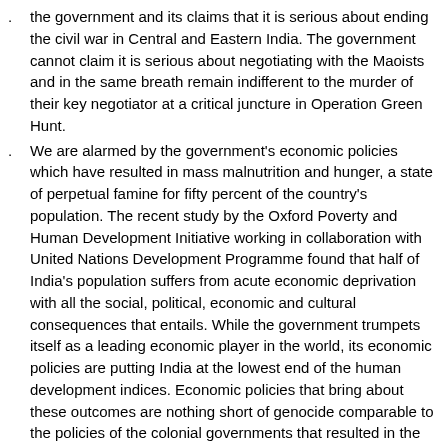the government and its claims that it is serious about ending the civil war in Central and Eastern India. The government cannot claim it is serious about negotiating with the Maoists and in the same breath remain indifferent to the murder of their key negotiator at a critical juncture in Operation Green Hunt.
We are alarmed by the government's economic policies which have resulted in mass malnutrition and hunger, a state of perpetual famine for fifty percent of the country's population. The recent study by the Oxford Poverty and Human Development Initiative working in collaboration with United Nations Development Programme found that half of India's population suffers from acute economic deprivation with all the social, political, economic and cultural consequences that entails. While the government trumpets itself as a leading economic player in the world, its economic policies are putting India at the lowest end of the human development indices. Economic policies that bring about these outcomes are nothing short of genocide comparable to the policies of the colonial governments that resulted in the Bengal and Deccan famines. Military solutions are not the answer to these outcomes of economic policies.
We are deeply disturbed by the government's efforts to shore up the Nepali army with training and equipment, an army that is deployed against the people of Nepal.
We are shocked at the way the government is embroiling India in the